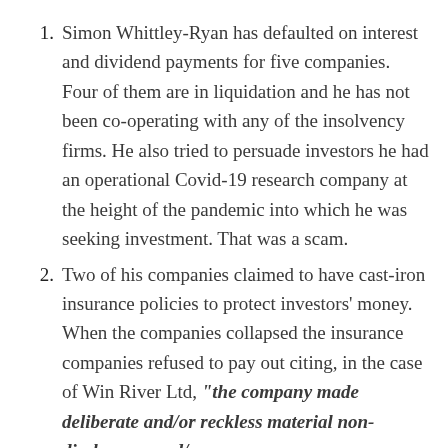Simon Whittley-Ryan has defaulted on interest and dividend payments for five companies. Four of them are in liquidation and he has not been co-operating with any of the insolvency firms. He also tried to persuade investors he had an operational Covid-19 research company at the height of the pandemic into which he was seeking investment. That was a scam.
Two of his companies claimed to have cast-iron insurance policies to protect investors' money. When the companies collapsed the insurance companies refused to pay out citing, in the case of Win River Ltd, "the company made deliberate and/or reckless material non-disclosures and/or